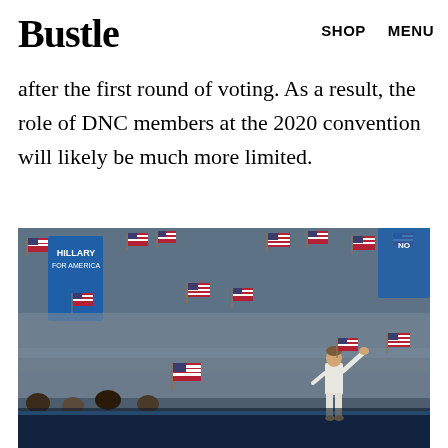Bustle   SHOP   MENU
delegates can now only influence the selection of a presidential nominee if there isn't a clear nominee after the first round of voting. As a result, the role of DNC members at the 2020 convention will likely be much more limited.
[Figure (photo): A political figure in a white suit standing on stage waving to a large crowd at a convention, with audience members waving American flags and blue campaign signs reading 'HILLARY'.]